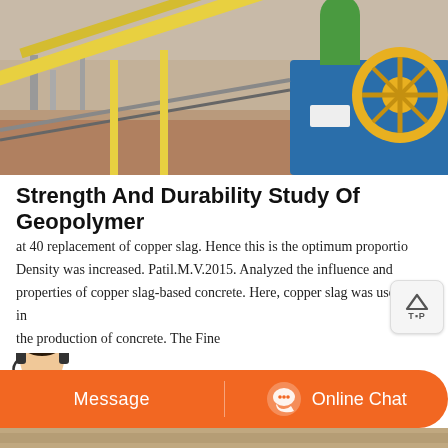[Figure (photo): Industrial machinery on a construction site — conveyor belts, blue and yellow equipment, earth-moving machinery in background.]
Strength And Durability Study Of Geopolymer
at 40 replacement of copper slag. Hence this is the optimum proportion. Density was increased. Patil.M.V.2015. Analyzed the influence and properties of copper slag-based concrete. Here, copper slag was used e in the production of concrete. The Fine